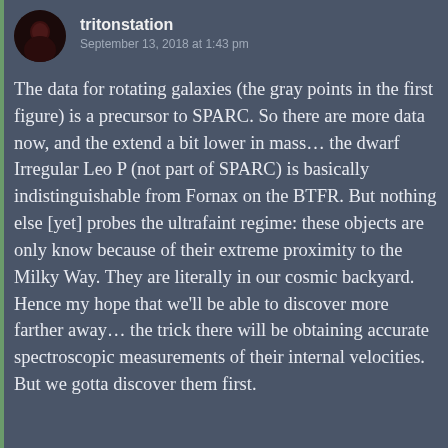tritonstation
September 13, 2018 at 1:43 pm
The data for rotating galaxies (the gray points in the first figure) is a precursor to SPARC. So there are more data now, and the extend a bit lower in mass… the dwarf Irregular Leo P (not part of SPARC) is basically indistinguishable from Fornax on the BTFR. But nothing else [yet] probes the ultrafaint regime: these objects are only know because of their extreme proximity to the Milky Way. They are literally in our cosmic backyard. Hence my hope that we'll be able to discover more farther away… the trick there will be obtaining accurate spectroscopic measurements of their internal velocities. But we gotta discover them first.